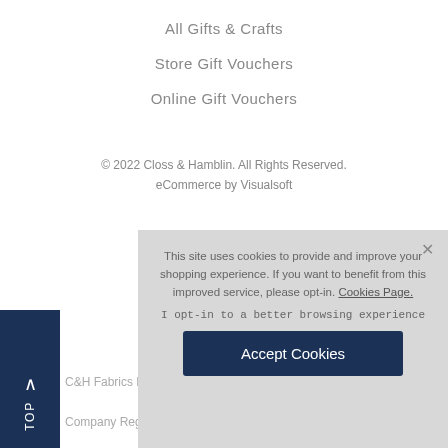All Gifts & Crafts
Store Gift Vouchers
Online Gift Vouchers
© 2022 Closs & Hamblin. All Rights Reserved.
eCommerce by Visualsoft
This site uses cookies to provide and improve your shopping experience. If you want to benefit from this improved service, please opt-in. Cookies Page.
I opt-in to a better browsing experience
Accept Cookies
C&H Fabrics Ltd | Re
Company Registra